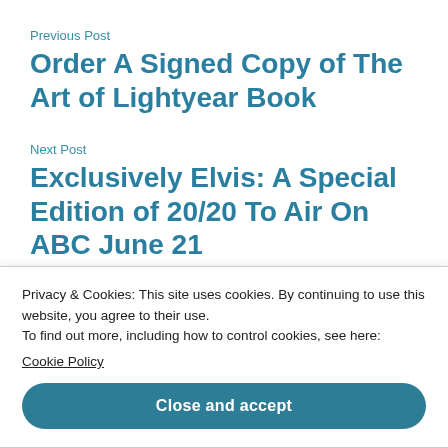Previous Post
Order A Signed Copy of The Art of Lightyear Book
Next Post
Exclusively Elvis: A Special Edition of 20/20 To Air On ABC June 21
Privacy & Cookies: This site uses cookies. By continuing to use this website, you agree to their use.
To find out more, including how to control cookies, see here: Cookie Policy
Close and accept